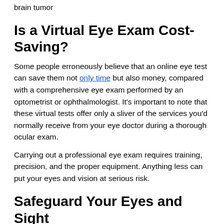brain tumor
Is a Virtual Eye Exam Cost-Saving?
Some people erroneously believe that an online eye test can save them not only time but also money, compared with a comprehensive eye exam performed by an optometrist or ophthalmologist. It's important to note that these virtual tests offer only a sliver of the services you'd normally receive from your eye doctor during a thorough ocular exam.
Carrying out a professional eye exam requires training, precision, and the proper equipment. Anything less can put your eyes and vision at serious risk.
Safeguard Your Eyes and Sight
A comprehensive in-person eye exam is the only way to determine whether your eyes are healthy and free from sight-threatening conditions. Early detection and treatment of these problems can potentially prevent vision loss. Eye care practitioners frequently discover an infection, chronic illness or